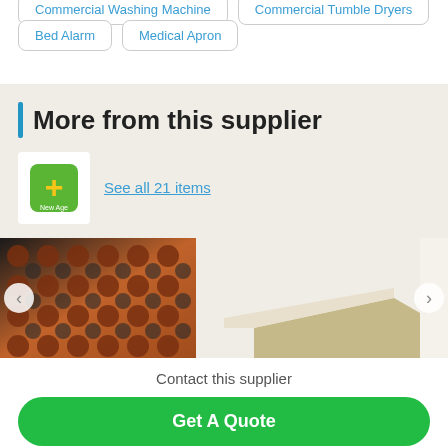Commercial Washing Machine
Commercial Tumble Dryers
Bed Alarm
Medical Apron
More from this supplier
See all 21 items
[Figure (photo): Rubber/terracotta anti-fatigue matting product photo]
[Figure (photo): Plywood or board product photo]
Contact this supplier
Get A Quote
Call